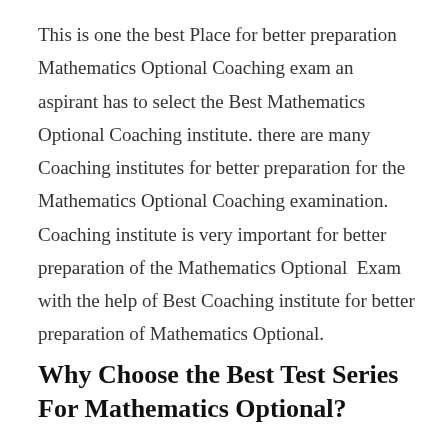This is one the best Place for better preparation Mathematics Optional Coaching exam an aspirant has to select the Best Mathematics Optional Coaching institute. there are many Coaching institutes for better preparation for the Mathematics Optional Coaching examination. Coaching institute is very important for better preparation of the Mathematics Optional  Exam with the help of Best Coaching institute for better preparation of Mathematics Optional.
Why Choose the Best Test Series For Mathematics Optional?